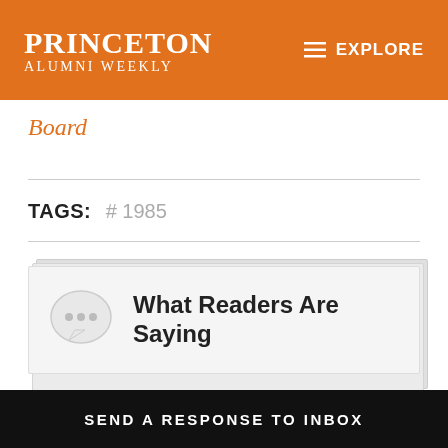PRINCETON ALUMNI WEEKLY | EXPLORE
Board
TAGS: # 1985
[Figure (screenshot): Card with chat bubble icon showing 'What Readers Are Saying']
What Readers Are Saying
SEND A RESPONSE TO INBOX